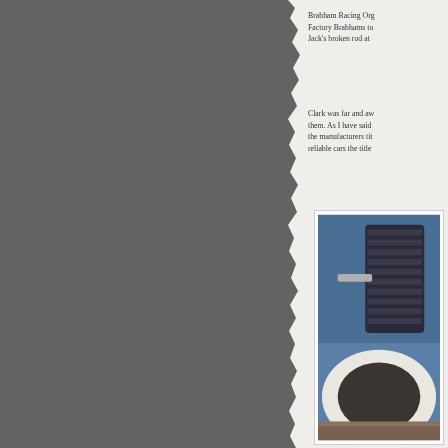[Figure (photo): Torn gray background photo occupying the left portion of the page]
Brabham Racing Org... Factory Brabhams to... Jack's broken rod at...
Clark was far and aw... them. As I have said... the manufacturers tit... reliable cars the title...
[Figure (photo): Close-up photograph of a racing car wheel/tire and mechanical components, featuring blue/dark tones]